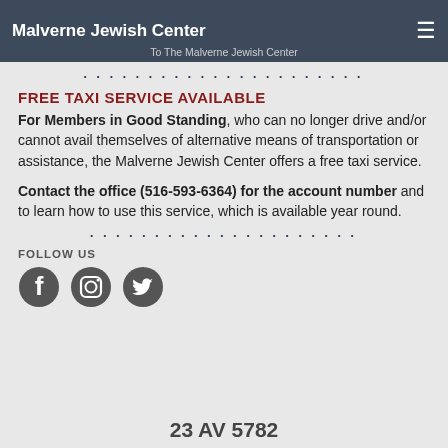Malverne Jewish Center | To The Malverne Jewish Center
FREE TAXI SERVICE AVAILABLE
For Members in Good Standing, who can no longer drive and/or cannot avail themselves of alternative means of transportation or assistance, the Malverne Jewish Center offers a free taxi service.
Contact the office (516-593-6364) for the account number and to learn how to use this service, which is available year round.
FOLLOW US
[Figure (illustration): Social media icons: Facebook, Instagram, Twitter]
23 AV 5782